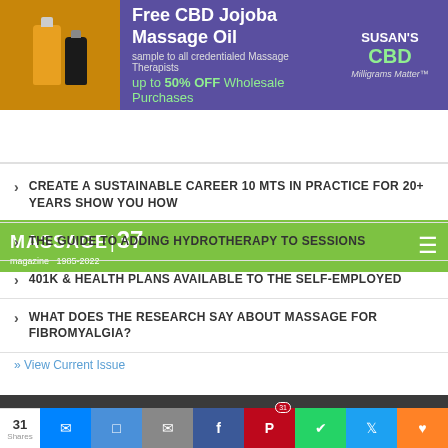[Figure (illustration): Advertisement banner for Susan's CBD - Free CBD Jojoba Massage Oil, sample to all credentialed Massage Therapists, up to 50% OFF Wholesale Purchases]
MASSAGE 37 magazine | Susan's CBD Milligrams Matter
CREATE A SUSTAINABLE CAREER 10 MTS IN PRACTICE FOR 20+ YEARS SHOW YOU HOW
THE GUIDE TO ADDING HYDROTHERAPY TO SESSIONS
401K & HEALTH PLANS AVAILABLE TO THE SELF-EMPLOYED
WHAT DOES THE RESEARCH SAY ABOUT MASSAGE FOR FIBROMYALGIA?
» View Current Issue
31 Shares | Share buttons: Messenger, Pushbullet, Email, Facebook, Pinterest (31), WhatsApp, Twitter, Mix